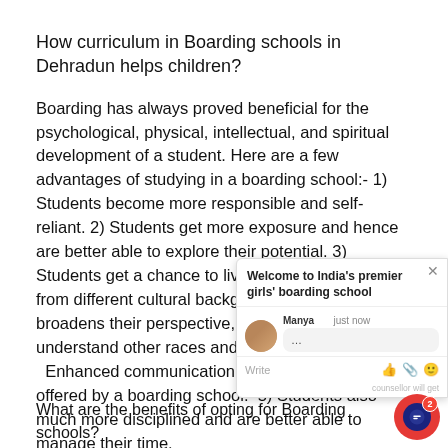How curriculum in Boarding schools in Dehradun helps children?
Boarding has always proved beneficial for the psychological, physical, intellectual, and spiritual development of a student. Here are a few advantages of studying in a boarding school:- 1) Students become more responsible and self-reliant. 2) Students get more exposure and hence are better able to explore their potential. 3) Students get a chance to live with people coming from different cultural backgrounds and... This broadens their perspective, and they tend to understand other races and cultures in a b... Enhanced communication skills are another a... offered by a boarding school. 5) Students also much more disciplined and are better able to manage their time.
[Figure (screenshot): Chat widget overlay showing 'Welcome to India's premier girls' boarding school' with an avatar of a girl named Manya, a text input field with Write placeholder, and emoji/attachment icons.]
What are the benefits of opting for Boarding schools?